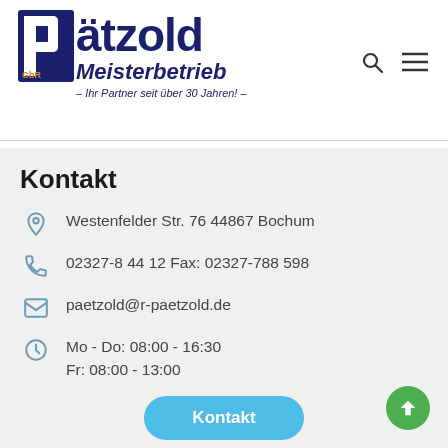[Figure (logo): Pätzold GbR Meisterbetrieb logo — dark blue block letter P with orange accent, followed by 'ätzold' in dark blue bold, 'Meisterbetrieb' in italic bold below, tagline '– Ihr Partner seit über 30 Jahren! –']
Kontakt
Westenfelder Str. 76 44867 Bochum
02327-8 44 12 Fax: 02327-788 598
paetzold@r-paetzold.de
Mo - Do: 08:00 - 16:30
Fr: 08:00 - 13:00
Kontakt